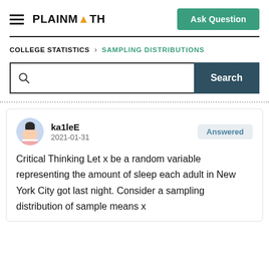PLAINMATH — Ask Question
COLLEGE STATISTICS > SAMPLING DISTRIBUTIONS
Search
ka1leE
2021-01-31
Answered
Critical Thinking Let x be a random variable representing the amount of sleep each adult in New York City got last night. Consider a sampling distribution of sample means x